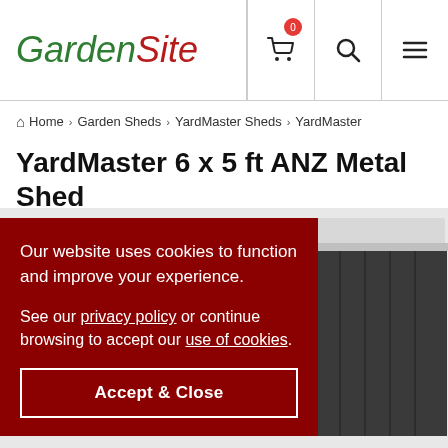GardenSite
Home > Garden Sheds > YardMaster Sheds > YardMaster
YardMaster 6 x 5 ft ANZ Metal Shed
Product Code: 65ANZ
★★★★★ Write the first review
[Figure (photo): Photo of a dark grey YardMaster metal shed with a white roof, showing the front and side panels]
Our website uses cookies to function and improve your experience.

See our privacy policy or continue browsing to accept our use of cookies.

Accept & Close